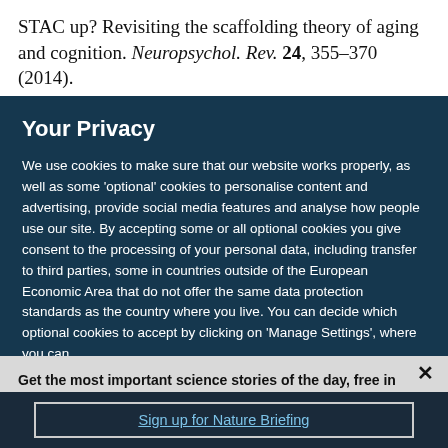STAC up? Revisiting the scaffolding theory of aging and cognition. Neuropsychol. Rev. 24, 355–370 (2014).
Your Privacy
We use cookies to make sure that our website works properly, as well as some 'optional' cookies to personalise content and advertising, provide social media features and analyse how people use our site. By accepting some or all optional cookies you give consent to the processing of your personal data, including transfer to third parties, some in countries outside of the European Economic Area that do not offer the same data protection standards as the country where you live. You can decide which optional cookies to accept by clicking on 'Manage Settings', where you can
Get the most important science stories of the day, free in your inbox.
Sign up for Nature Briefing